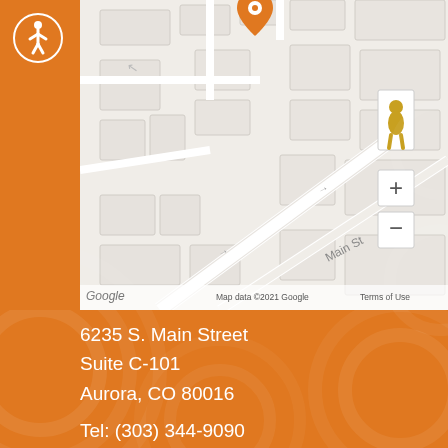[Figure (map): Google Maps screenshot showing street map centered near 6235 S. Main Street, Aurora, CO. Shows Main St label, street grid, location pin marker, zoom controls (+/-), pegman icon, Google logo, and 'Map data ©2021 Google  Terms of Use' attribution.]
6235 S. Main Street
Suite C-101
Aurora, CO 80016
Tel: (303) 344-9090